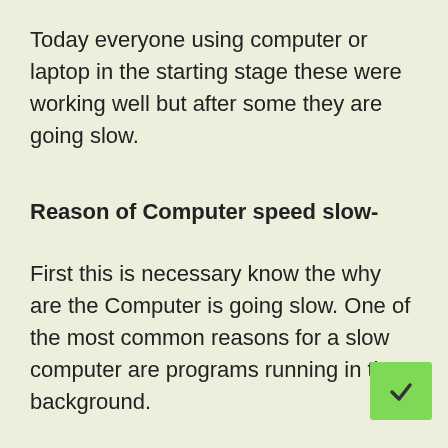Today everyone using computer or laptop in the starting stage these were working well but after some they are going slow.
Reason of Computer speed slow-
First this is necessary know the why are the Computer is going slow. One of the most common reasons for a slow computer are programs running in the background.